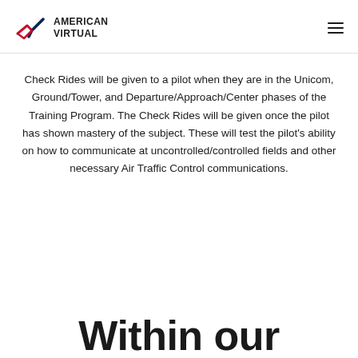AMERICAN VIRTUAL
Check Rides will be given to a pilot when they are in the Unicom, Ground/Tower, and Departure/Approach/Center phases of the Training Program. The Check Rides will be given once the pilot has shown mastery of the subject. These will test the pilot’s ability on how to communicate at uncontrolled/controlled fields and other necessary Air Traffic Control communications.
Within our